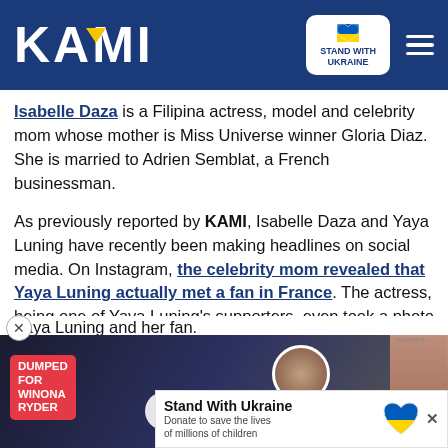KAMI — Stand With Ukraine
Isabelle Daza is a Filipina actress, model and celebrity mom whose mother is Miss Universe winner Gloria Diaz. She is married to Adrien Semblat, a French businessman.
As previously reported by KAMI, Isabelle Daza and Yaya Luning have recently been making headlines on social media. On Instagram, the celebrity mom revealed that Yaya Luning actually met a fan in France. The actress, being one of Yaya Luning's supporters, even took a photo of Yaya Luning and her fan.
[Figure (screenshot): Video thumbnail with text 'DUMPED FOR WINONA RYDER' overlaid on a photo of two people; circular portrait in upper right corner; play button in center.]
[Figure (photo): Blurred photo of a man on the right side.]
[Figure (photo): Small photo at bottom left, appears to show a person with an animal.]
Stand With Ukraine — Donate to save the lives of millions of children